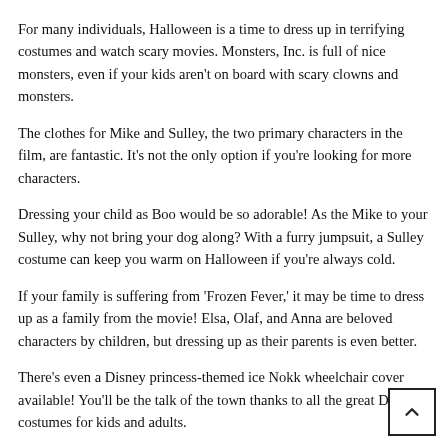For many individuals, Halloween is a time to dress up in terrifying costumes and watch scary movies. Monsters, Inc. is full of nice monsters, even if your kids aren't on board with scary clowns and monsters.
The clothes for Mike and Sulley, the two primary characters in the film, are fantastic. It's not the only option if you're looking for more characters.
Dressing your child as Boo would be so adorable! As the Mike to your Sulley, why not bring your dog along? With a furry jumpsuit, a Sulley costume can keep you warm on Halloween if you're always cold.
If your family is suffering from 'Frozen Fever,' it may be time to dress up as a family from the movie! Elsa, Olaf, and Anna are beloved characters by children, but dressing up as their parents is even better.
There's even a Disney princess-themed ice Nokk wheelchair cover available! You'll be the talk of the town thanks to all the great Disney costumes for kids and adults.